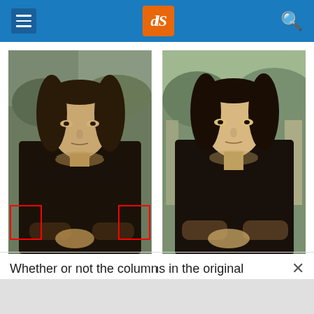dPS website header with menu, logo, and search
[Figure (photo): Left: Mona Lisa painting (darker, original) with two red rectangle annotations on the left and right edges at mid-height. Right: A lighter/different version of the Mona Lisa painting without annotations.]
Whether or not the columns in the original